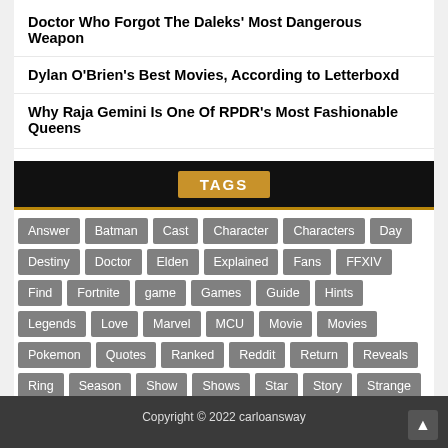Doctor Who Forgot The Daleks' Most Dangerous Weapon
Dylan O'Brien's Best Movies, According to Letterboxd
Why Raja Gemini Is One Of RPDR's Most Fashionable Queens
TAGS
Answer Batman Cast Character Characters Day Destiny Doctor Elden Explained Fans FFXIV Find Fortnite game Games Guide Hints Legends Love Marvel MCU Movie Movies Pokemon Quotes Ranked Reddit Return Reveals Ring Season Show Shows Star Story Strange Stranger Time Todays Trailer Video Wars Word Wordle
Copyright © 2022 carloansway